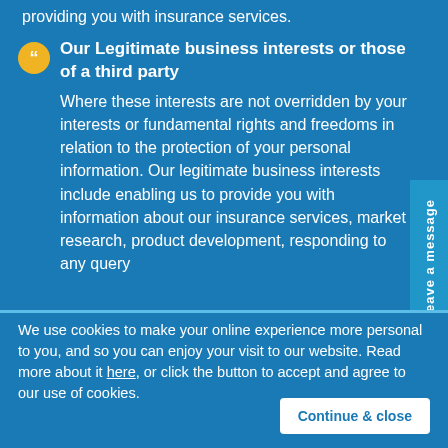providing you with insurance services.
Our Legitimate business interests or those of a third party
Where these interests are not overridden by your interests or fundamental rights and freedoms in relation to the protection of your personal information. Our legitimate business interests include enabling us to provide you with information about our insurance services, market research, product development, responding to any query
We use cookies to make your online experience more personal to you, and so you can enjoy your visit to our website. Read more about it here, or click the button to accept and agree to our use of cookies.